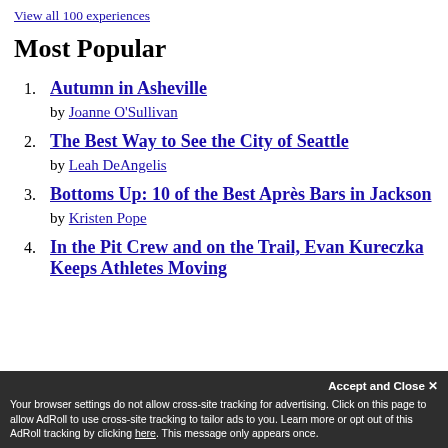View all 100 experiences
Most Popular
1. Autumn in Asheville
by Joanne O'Sullivan
2. The Best Way to See the City of Seattle
by Leah DeAngelis
3. Bottoms Up: 10 of the Best Après Bars in Jackson
by Kristen Pope
4. In the Pit Crew and on the Trail, Evan Kureczka Keeps Athletes Moving
Accept and Close ✕
Your browser settings do not allow cross-site tracking for advertising. Click on this page to allow AdRoll to use cross-site tracking to tailor ads to you. Learn more or opt out of this AdRoll tracking by clicking here. This message only appears once.